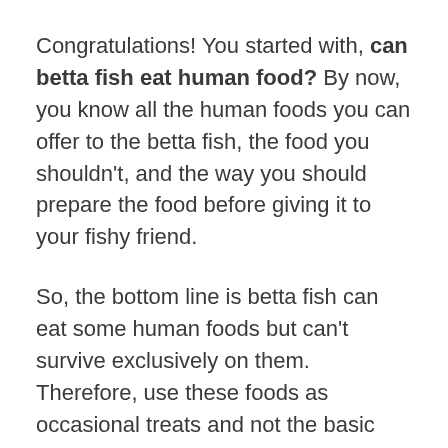Congratulations! You started with, can betta fish eat human food? By now, you know all the human foods you can offer to the betta fish, the food you shouldn't, and the way you should prepare the food before giving it to your fishy friend.
So, the bottom line is betta fish can eat some human foods but can't survive exclusively on them. Therefore, use these foods as occasional treats and not the basic food for the fish. And even in those cases, give them in moderation. Like all pets, bettas will be delighted to have these treats every once in a while.
Betta Fish